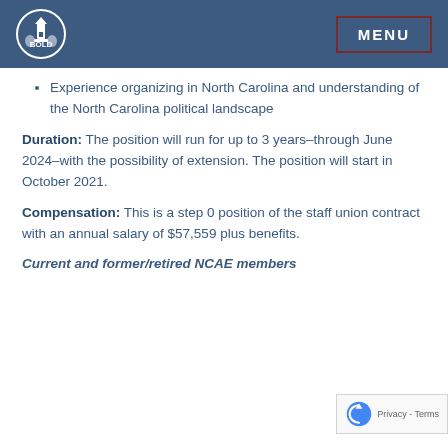BOLD [logo] MENU
Experience organizing in North Carolina and understanding of the North Carolina political landscape
Duration: The position will run for up to 3 years–through June 2024–with the possibility of extension. The position will start in October 2021.
Compensation: This is a step 0 position of the staff union contract with an annual salary of $57,559 plus benefits.
Current and former/retired NCAE members are encouraged to apply and SPECIAL to be